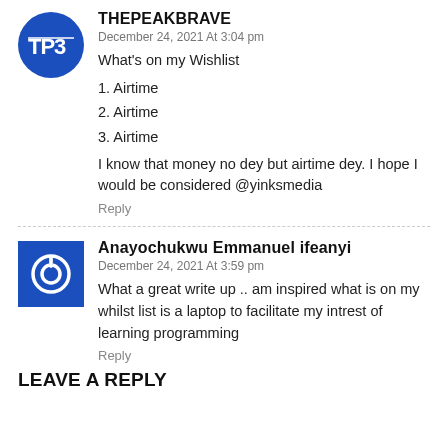THEPEAKBRAVE
December 24, 2021 At 3:04 pm
What's on my Wishlist
1. Airtime
2. Airtime
3. Airtime
I know that money no dey but airtime dey. I hope I would be considered @yinksmedia
Reply
Anayochukwu Emmanuel ifeanyi
December 24, 2021 At 3:59 pm
What a great write up .. am inspired what is on my whilst list is a laptop to facilitate my intrest of learning programming
Reply
LEAVE A REPLY